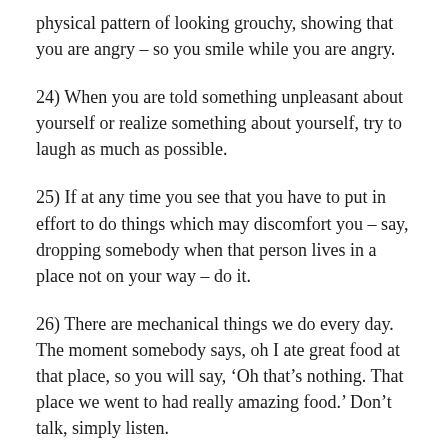physical pattern of looking grouchy, showing that you are angry – so you smile while you are angry.
24) When you are told something unpleasant about yourself or realize something about yourself, try to laugh as much as possible.
25) If at any time you see that you have to put in effort to do things which may discomfort you – say, dropping somebody when that person lives in a place not on your way – do it.
26) There are mechanical things we do every day. The moment somebody says, oh I ate great food at that place, so you will say, ‘Oh that’s nothing. That place we went to had really amazing food.’ Don’t talk, simply listen.
27) Try to listen to each and every word a person is